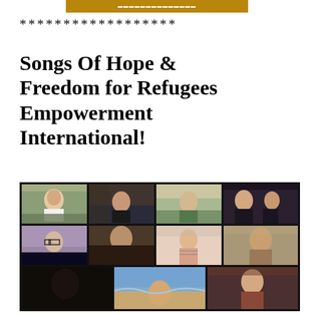******************
Songs Of Hope & Freedom for Refugees Empowerment International!
[Figure (photo): Screenshot of a video call showing multiple participants arranged in a grid: top row has 4 people (woman smiling with clasped hands, woman with dark hair, older woman in green, two people together), middle row has 4 people (person with glasses, person partially visible, woman in striped shirt, man smiling), bottom row has 3 participants (dark figure, beach scene with person, woman smiling).]